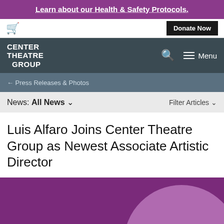Learn about our Health & Safety Protocols.
[Figure (screenshot): Navigation bar with shopping cart icon on left and Donate Now button on right]
[Figure (logo): Center Theatre Group logo in white text on dark teal background with search icon and Menu toggle]
← Press Releases & Photos
News: All News ∨   Filter Articles ∨
Luis Alfaro Joins Center Theatre Group as Newest Associate Artistic Director
[Figure (illustration): Purple background with lighter purple circular shape in lower right area]